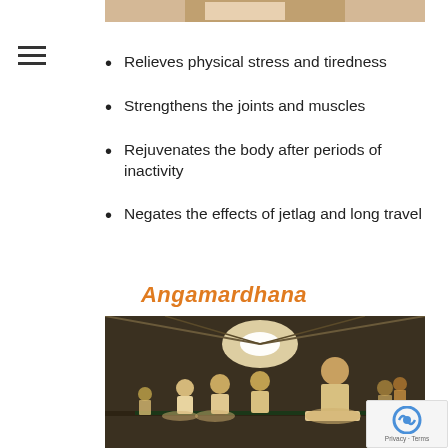[Figure (photo): Top partial photo of yoga/wellness practice, cropped at top of page]
Relieves physical stress and tiredness
Strengthens the joints and muscles
Rejuvenates the body after periods of inactivity
Negates the effects of jetlag and long travel
Angamardhana
[Figure (photo): Group of people in traditional attire performing yoga/Angamardhana exercises in a large hall with dome-like ceiling]